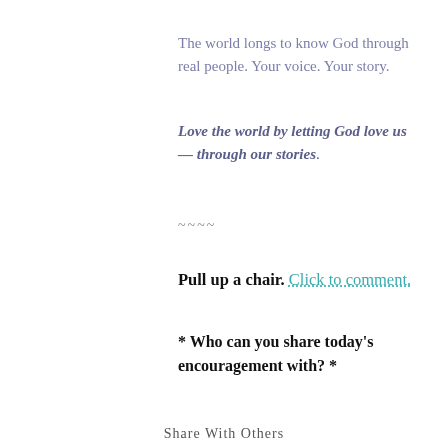The world longs to know God through real people. Your voice. Your story.
Love the world by letting God love us — through our stories.
~~~~
Pull up a chair. Click to comment.
* Who can you share today's encouragement with? *
Share With Others